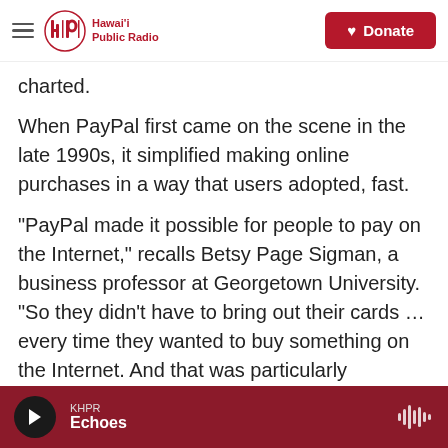Hawai'i Public Radio — Donate
charted.
When PayPal first came on the scene in the late 1990s, it simplified making online purchases in a way that users adopted, fast.
"PayPal made it possible for people to pay on the Internet," recalls Betsy Page Sigman, a business professor at Georgetown University. "So they didn't have to bring out their cards ... every time they wanted to buy something on the Internet. And that was particularly important for eBay, because eBay merchants and customers engage in a lot of transactions."
KHPR Echoes